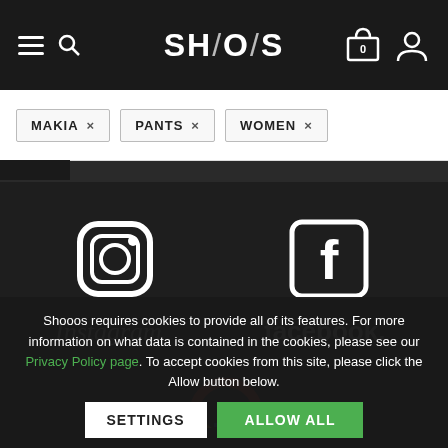SHOOOS - navigation header with hamburger, search, logo, cart (0), user icon
MAKIA ×
PANTS ×
WOMEN ×
[Figure (logo): Instagram logo icon (camera outline) and Instagram wordmark in white on dark background]
[Figure (logo): Facebook logo icon (T-shape) and facebook wordmark in white on dark background]
[Figure (logo): Google logo partial G in red/orange/yellow on dark background]
Shooos requires cookies to provide all of its features. For more information on what data is contained in the cookies, please see our Privacy Policy page. To accept cookies from this site, please click the Allow button below.
SETTINGS
ALLOW ALL